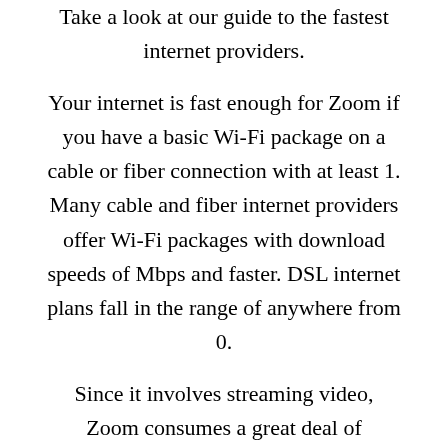Take a look at our guide to the fastest internet providers.
Your internet is fast enough for Zoom if you have a basic Wi-Fi package on a cable or fiber connection with at least 1. Many cable and fiber internet providers offer Wi-Fi packages with download speeds of Mbps and faster. DSL internet plans fall in the range of anywhere from 0.
Since it involves streaming video, Zoom consumes a great deal of internet data—and